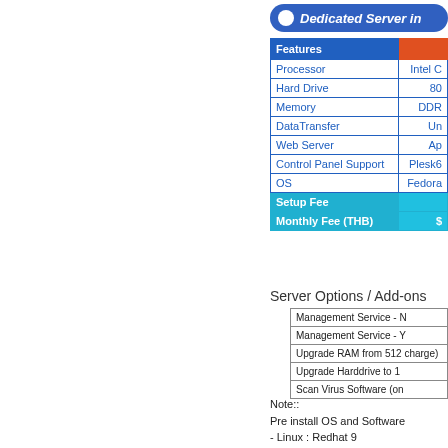Dedicated Server in
| Features |  |
| --- | --- |
| Processor | Intel C |
| Hard Drive | 80 |
| Memory | DDR |
| DataTransfer | Un |
| Web Server | Ap |
| Control Panel Support | Plesk6 |
| OS | Fedora |
| Setup Fee |  |
| Monthly Fee (THB) | $ |
Server Options / Add-ons
| Management Service - N |
| Management Service - Y |
| Upgrade RAM from 512 charge) |
| Upgrade Harddrive to 1 |
| Scan Virus Software (on |
Note::
Pre install OS and Software
- Linux : Redhat 9
- Plesk Control Panel Version